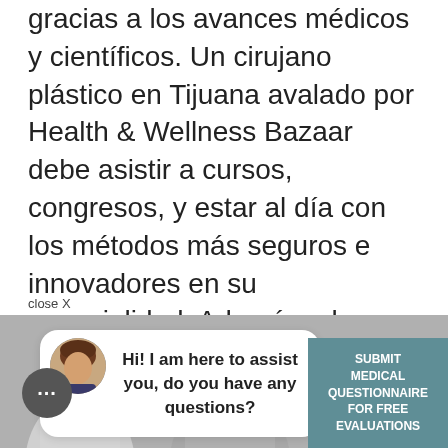gracias a los avances médicos y científicos. Un cirujano plástico en Tijuana avalado por Health & Wellness Bazaar debe asistir a cursos, congresos, y estar al día con los métodos más seguros e innovadores en su especialidad. Además, el CMCPER en base a la preparación del cirujano se encarga de certificarlo cada cinco años.
close X
[Figure (screenshot): Chat widget overlay showing a female avatar and speech bubble with 'Hi! I am here to assist you, do you have any questions?' and a teal 'SUBMIT MEDICAL QUESTIONNAIRE FOR FREE EVALUATIONS' button, over a greyscale photo of medical professionals]